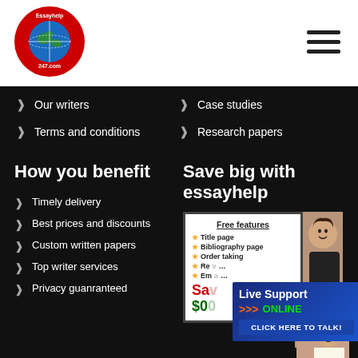[Figure (logo): Essayhelp247.com circular logo with globe on red background]
[Figure (other): Hamburger menu icon (three horizontal lines)]
Our writers
Case studies
Terms and conditions
Research papers
How you benefit
Save big with essayhelp
Timely delivery
Best prices and discounts
Custom written papers
Top writer services
Privacy guanranteed
[Figure (infographic): Free features card listing Title page, Bibliography page, Order taking, with prices shown. Overlaid with Live Support ONLINE CLICK HERE TO TALK banner and a photo of a smiling woman.]